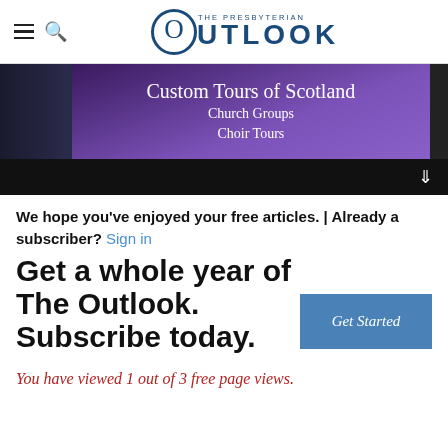The Presbyterian Outlook
[Figure (photo): Banner advertisement for Custom Tours of Scotland, Church Groups, Choir Tours with purple overlay on a night cityscape background]
We hope you've enjoyed your free articles. | Already a subscriber? Sign in
Get a whole year of The Outlook. Subscribe today.
Get Started
You have viewed 1 out of 3 free page views.